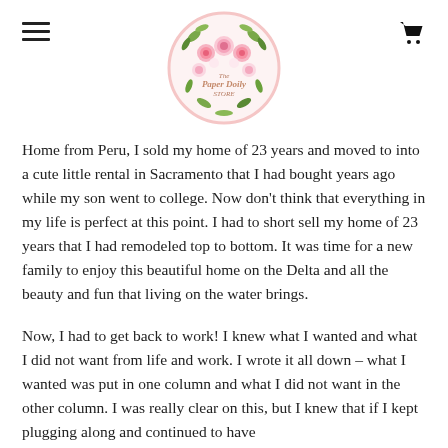The Paper Doily Store [logo with floral wreath]
Home from Peru, I sold my home of 23 years and moved to into a cute little rental in Sacramento that I had bought years ago while my son went to college. Now don't think that everything in my life is perfect at this point. I had to short sell my home of 23 years that I had remodeled top to bottom. It was time for a new family to enjoy this beautiful home on the Delta and all the beauty and fun that living on the water brings.
Now, I had to get back to work! I knew what I wanted and what I did not want from life and work. I wrote it all down – what I wanted was put in one column and what I did not want in the other column. I was really clear on this, but I knew that if I kept plugging along and continued to have